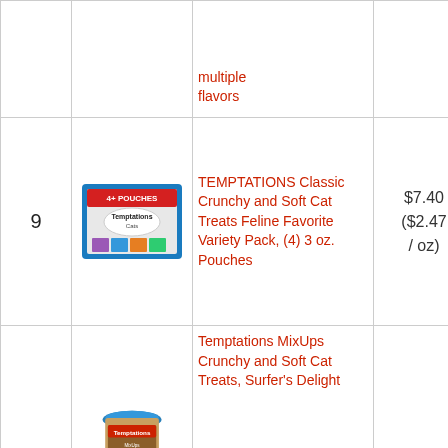| # | Image | Product Name | Price | Action |
| --- | --- | --- | --- | --- |
|  |  | multiple flavors |  |  |
| 9 | [Temptations variety pack image] | TEMPTATIONS Classic Crunchy and Soft Cat Treats Feline Favorite Variety Pack, (4) 3 oz. Pouches | $7.40 ($2.47 / oz) | Buy on Amazon |
| 10 | [Temptations tub image] | Temptations MixUps Crunchy and Soft Cat Treats, Surfer's Delight |  | Buy on Amazon |